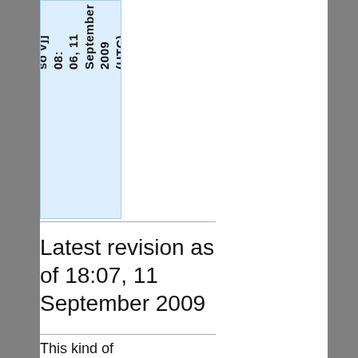| so v]] 08: 06, 11 September 2009 (UTC) |
Latest revision as of 18:07, 11 September 2009
This kind of stub shouldn't